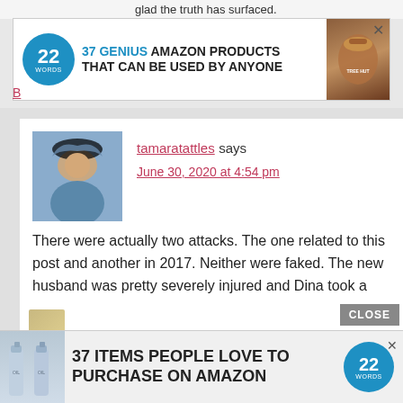glad the truth has surfaced.
[Figure (infographic): Advertisement banner: 22 Words logo with text '37 GENIUS AMAZON PRODUCTS THAT CAN BE USED BY ANYONE' and product image]
tamaratattles says
June 30, 2020 at 4:54 pm
There were actually two attacks. The one related to this post and another in 2017. Neither were faked. The new husband was pretty severely injured and Dina took a few blows herself. See link in post.
Reply
[Figure (infographic): Bottom advertisement: 37 ITEMS PEOPLE LOVE TO PURCHASE ON AMAZON with 22 Words logo]